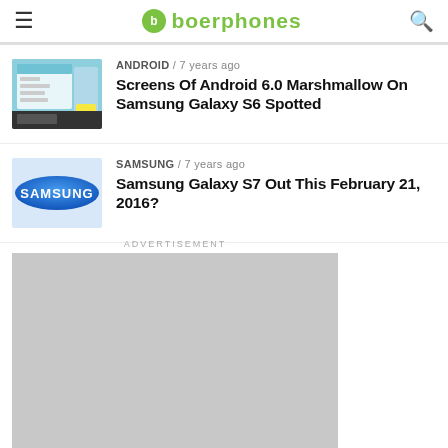boerphones
ANDROID / 7 years ago
Screens Of Android 6.0 Marshmallow On Samsung Galaxy S6 Spotted
SAMSUNG / 7 years ago
Samsung Galaxy S7 Out This February 21, 2016?
ADVERTISEMENT